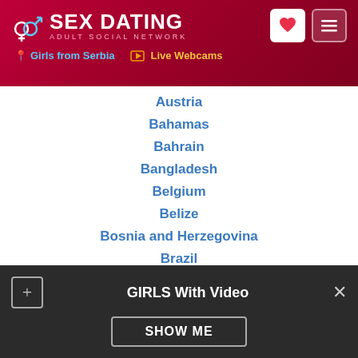SEX DATING ADULT SOCIAL NETWORK | Girls from Serbia | Live Webcams
Austria
Bahamas
Bahrain
Bangladesh
Belgium
Belize
Bosnia and Herzegovina
Brazil
Bulgaria
Cambodia
Canada
Chile
China
GIRLS With Video | SHOW ME